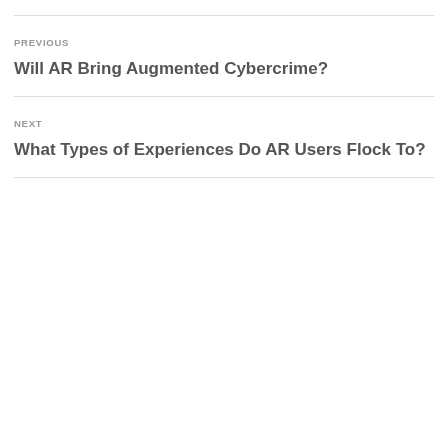PREVIOUS
Will AR Bring Augmented Cybercrime?
NEXT
What Types of Experiences Do AR Users Flock To?